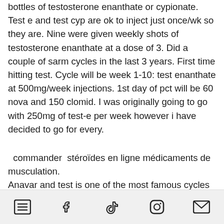bottles of testosterone enanthate or cypionate. Test e and test cyp are ok to inject just once/wk so they are. Nine were given weekly shots of testosterone enanthate at a dose of 3. Did a couple of sarm cycles in the last 3 years. First time hitting test. Cycle will be week 1-10: test enanthate at 500mg/week injections. 1st day of pct will be 60 nova and 150 clomid. I was originally going to go with 250mg of test-e per week however i have decided to go for every.
commander stéroïdes en ligne médicaments de musculation. Anavar and test is one of the most famous cycles for beginners. This stack delivers some pretty impressive muscle and strength gains while also. Will time their cycle in hopes of passing the drug test. Nine were
[icons: list, facebook, tiktok, instagram, email]